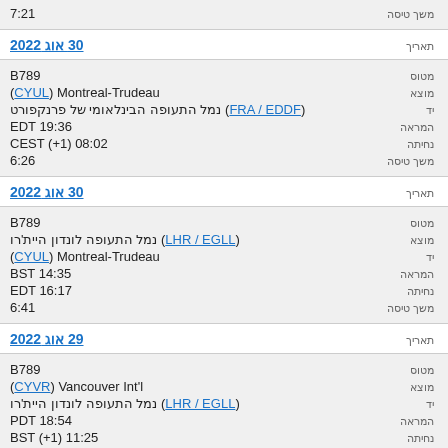משך טיסה 7:21
תאריך 30 אוג 2022
מטוס B789
מוצא (CYUL) Montreal-Trudeau
יד נמל התעופה הבינלאומי של פרנקפורט (FRA / EDDF)
המראה EDT 19:36
נחיתה CEST (+1) 08:02
משך טיסה 6:26
תאריך 30 אוג 2022
מטוס B789
מוצא (LHR / EGLL) נמל התעופה לונדון היית'רו
יד (CYUL) Montreal-Trudeau
המראה BST 14:35
נחיתה EDT 16:17
משך טיסה 6:41
תאריך 29 אוג 2022
מטוס B789
מוצא (CYVR) Vancouver Int'l
יד (LHR / EGLL) נמל התעופה לונדון היית'רו
המראה PDT 18:54
נחיתה BST (+1) 11:25